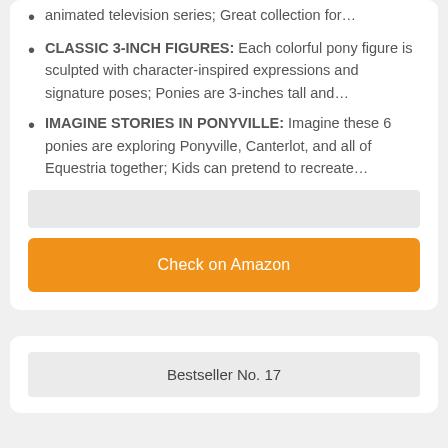animated television series; Great collection for…
CLASSIC 3-INCH FIGURES: Each colorful pony figure is sculpted with character-inspired expressions and signature poses; Ponies are 3-inches tall and…
IMAGINE STORIES IN PONYVILLE: Imagine these 6 ponies are exploring Ponyville, Canterlot, and all of Equestria together; Kids can pretend to recreate…
Check on Amazon
Bestseller No. 17